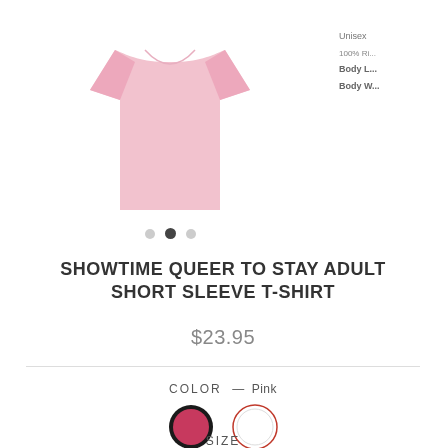[Figure (photo): Pink short sleeve t-shirt displayed on white background, partially cropped]
Unisex 100% Ri... Body L... Body W...
[Figure (other): Carousel navigation dots: three dots, middle one active/filled]
SHOWTIME QUEER TO STAY ADULT SHORT SLEEVE T-SHIRT
$23.95
COLOR — Pink
[Figure (other): Color swatches: pink/rose circle (selected, with dark border) and white circle (with red border)]
SIZE